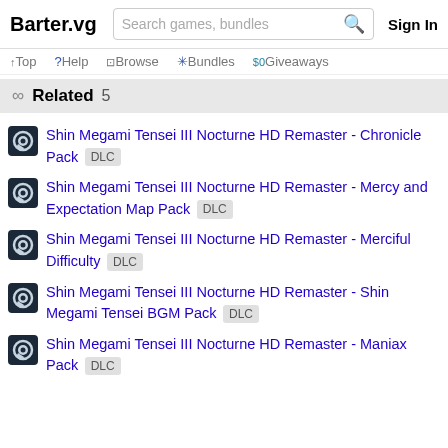Barter.vg  Search games, bundles  Sign In
Top  ?Help  Browse  *Bundles  $0Giveaways
Related 5
Shin Megami Tensei III Nocturne HD Remaster - Chronicle Pack DLC
Shin Megami Tensei III Nocturne HD Remaster - Mercy and Expectation Map Pack DLC
Shin Megami Tensei III Nocturne HD Remaster - Merciful Difficulty DLC
Shin Megami Tensei III Nocturne HD Remaster - Shin Megami Tensei BGM Pack DLC
Shin Megami Tensei III Nocturne HD Remaster - Maniax Pack DLC